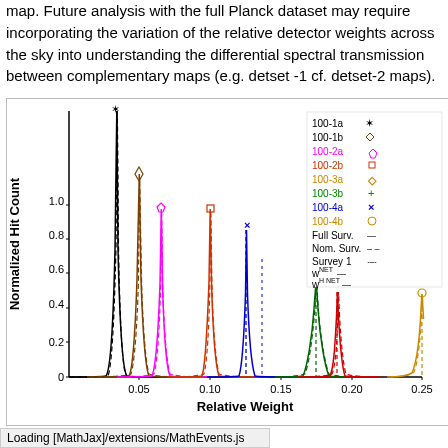map. Future analysis with the full Planck dataset may require incorporating the variation of the relative detector weights across the sky into understanding the differential spectral transmission between complementary maps (e.g. detset -1 cf. detset-2 maps).
[Figure (continuous-plot): Line chart showing Normalized Hit Count vs Relative Weight for multiple detector sets (100-1a through 100-4b) with various line styles (solid, dashed, dot-dash). Multiple bell curve distributions peak at different relative weights from 0.05 to beyond 0.25. Legend shows entries for 100-1a through 100-4b, Full Surv., Nom. Surv., Survey 1, w_NET, and w_H NET.]
Loading [MathJax]/extensions/MathEvents.js